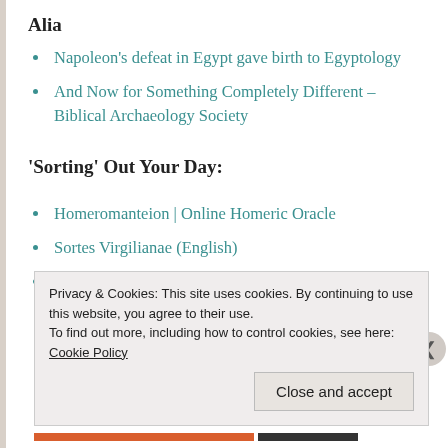Alia
Napoleon's defeat in Egypt gave birth to Egyptology
And Now for Something Completely Different – Biblical Archaeology Society
'Sorting' Out Your Day:
Homeromanteion | Online Homeric Oracle
Sortes Virgilianae (English)
Sortes Virgilianae (Latin)
Privacy & Cookies: This site uses cookies. By continuing to use this website, you agree to their use.
To find out more, including how to control cookies, see here: Cookie Policy
Close and accept